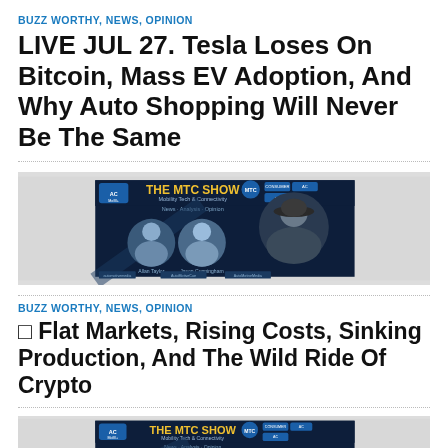BUZZ WORTHY, NEWS, OPINION
LIVE JUL 27. Tesla Loses On Bitcoin, Mass EV Adoption, And Why Auto Shopping Will Never Be The Same
[Figure (photo): The MTC Show promotional image with hosts Allan Taylor and Jason Cunningham, Mobility Tech & Connectivity, News - Analysis - Opinion]
BUZZ WORTHY, NEWS, OPINION
□ Flat Markets, Rising Costs, Sinking Production, And The Wild Ride Of Crypto
[Figure (photo): The MTC Show promotional image, Mobility Tech & Connectivity, News - Analysis - Opinion, partially visible]